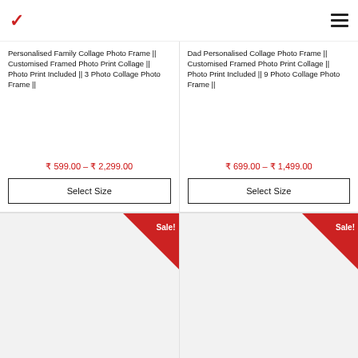Personalised Family Collage Photo Frame || Customised Framed Photo Print Collage || Photo Print Included || 3 Photo Collage Photo Frame ||
₹ 599.00 – ₹ 2,299.00
Select Size
Dad Personalised Collage Photo Frame || Customised Framed Photo Print Collage || Photo Print Included || 9 Photo Collage Photo Frame ||
₹ 699.00 – ₹ 1,499.00
Select Size
[Figure (other): Product image area with red Sale! triangle badge, left column]
[Figure (other): Product image area with red Sale! triangle badge, right column]